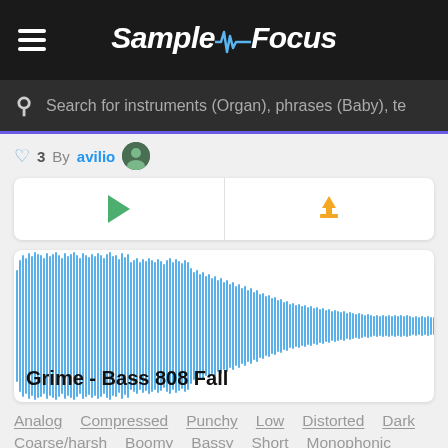SampleFocus
Search for instruments (Organ), phrases (Baby), te
♡ 3  By avilio
[Figure (continuous-plot): Audio waveform visualization of 'Grime - Bass 808 Fall' — blue waveform starting dense and tall on the left, tapering to a thinner sustained tail on the right, on a white background]
Grime - Bass 808 Fall
Analog  Compressed  Punchy  Low  Distorted  Dark
Coarse/harsh  Boomy  Bassy  Short  Monophonic
Dry  Sub.bass  Bass  Aggressive  Buzzy  One shot